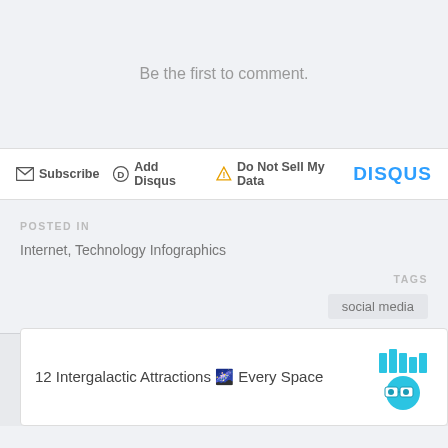Be the first to comment.
Subscribe  Add Disqus  Do Not Sell My Data  DISQUS
POSTED IN
Internet, Technology Infographics
TAGS
social media
12 Intergalactic Attractions 🌌 Every Space